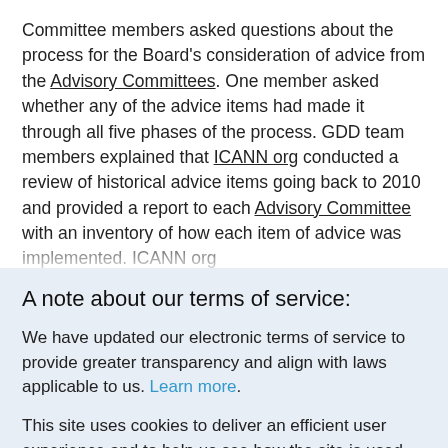Committee members asked questions about the process for the Board's consideration of advice from the Advisory Committees. One member asked whether any of the advice items had made it through all five phases of the process. GDD team members explained that ICANN org conducted a review of historical advice items going back to 2010 and provided a report to each Advisory Committee with an inventory of how each item of advice was implemented. ICANN org
A note about our terms of service:
We have updated our electronic terms of service to provide greater transparency and align with laws applicable to us. Learn more.
This site uses cookies to deliver an efficient user experience and to help us see how the site is used. Learn more. OK